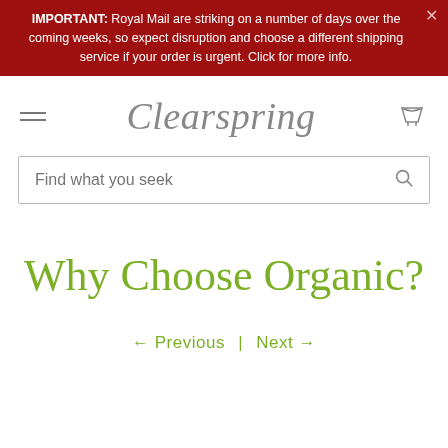IMPORTANT: Royal Mail are striking on a number of days over the coming weeks, so expect disruption and choose a different shipping service if your order is urgent. Click for more info.
Clearspring
Find what you seek
Why Choose Organic?
← Previous | Next →